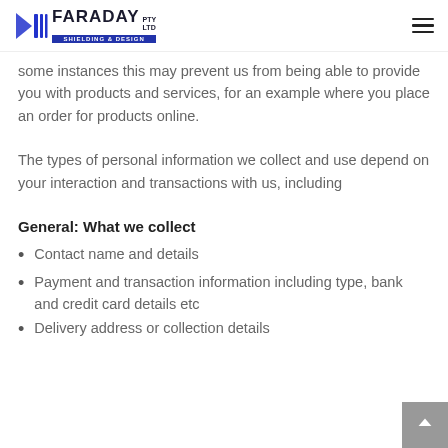Faraday PTY LTD — Shielding & Design
some instances this may prevent us from being able to provide you with products and services, for an example where you place an order for products online.
The types of personal information we collect and use depend on your interaction and transactions with us, including
General: What we collect
Contact name and details
Payment and transaction information including type, bank and credit card details etc
Delivery address or collection details